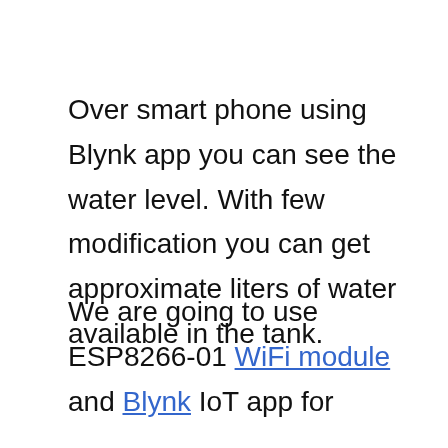Over smart phone using Blynk app you can see the water level. With few modification you can get approximate liters of water available in the tank.
We are going to use ESP8266-01 WiFi module and Blynk IoT app for